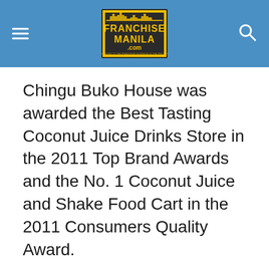FranchiseManila.com
Chingu Buko House was awarded the Best Tasting Coconut Juice Drinks Store in the 2011 Top Brand Awards and the No. 1 Coconut Juice and Shake Food Cart in the 2011 Consumers Quality Award.